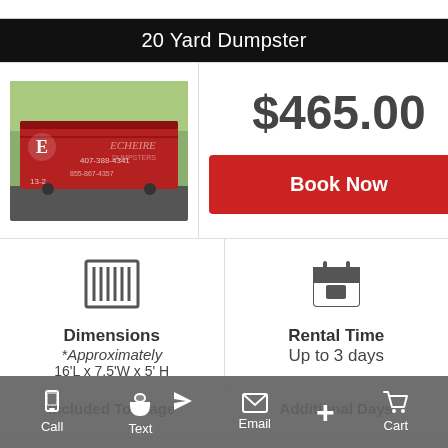20 Yard Dumpster
[Figure (photo): Red roll-off dumpster with 'E' logo and phone number, parked on asphalt with trees in background]
$465.00
Book Now
[Figure (other): Dumpster/barcode icon representing dimensions]
Dimensions
*Approximately
16'L x 7.5'W x 5' H
[Figure (other): Calendar icon representing rental time]
Rental Time
Up to 3 days
Included Tonnage
Additional Days
Call  Text  Email  Cart